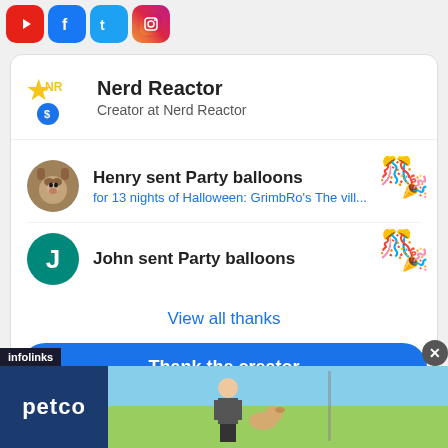[Figure (screenshot): Social media platform icons: YouTube (red), Facebook (blue), Twitter (light blue), Instagram (gradient)]
Nerd Reactor
Creator at Nerd Reactor
Henry sent Party balloons
for 13 nights of Halloween: GrimbRo's The vill...
John sent Party balloons
View all thanks
Thank the creator
[Figure (screenshot): Petco advertisement banner with logo and person with dog]